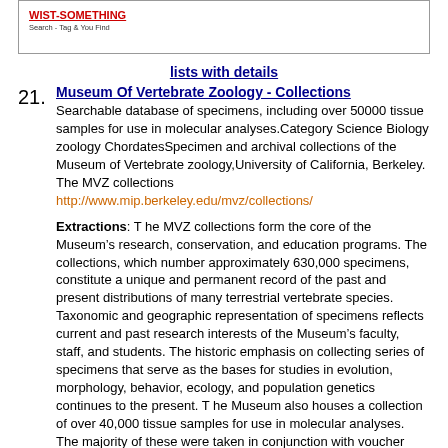[Figure (logo): Website logo or header image with red underlined text and small subtitle text]
lists with details
21. Museum Of Vertebrate Zoology - Collections
Searchable database of specimens, including over 50000 tissue samples for use in molecular analyses.Category Science Biology zoology ChordatesSpecimen and archival collections of the Museum of Vertebrate zoology,University of California, Berkeley. The MVZ collections
http://www.mip.berkeley.edu/mvz/collections/

Extractions: T he MVZ collections form the core of the Museum’s research, conservation, and education programs. The collections, which number approximately 630,000 specimens, constitute a unique and permanent record of the past and present distributions of many terrestrial vertebrate species. Taxonomic and geographic representation of specimens reflects current and past research interests of the Museum’s faculty, staff, and students. The historic emphasis on collecting series of specimens that serve as the bases for studies in evolution, morphology, behavior, ecology, and population genetics continues to the present. T he Museum also houses a collection of over 40,000 tissue samples for use in molecular analyses. The majority of these were taken in conjunction with voucher specimens which can be referred to for verification of results. C omplementing these